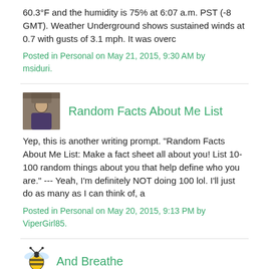60.3°F and the humidity is 75% at 6:07 a.m. PST (-8 GMT).  Weather Underground shows sustained winds at 0.7 with gusts of 3.1 mph. It was overc
Posted in Personal on May 21, 2015, 9:30 AM by msiduri.
[Figure (photo): Avatar photo of a person in front of a brick wall]
Random Facts About Me List
Yep, this is another writing prompt. "Random Facts About Me List: Make a fact sheet all about you! List 10-100 random things about you that help define who you are." --- Yeah, I'm definitely NOT doing 100 lol. I'll just do as many as I can think of, a
Posted in Personal on May 20, 2015, 9:13 PM by ViperGirl85.
[Figure (illustration): Bee emoji icon]
And Breathe
It's been a bit all out this week so far. With Mr C and the guys arriving home late on Sunday night, I was